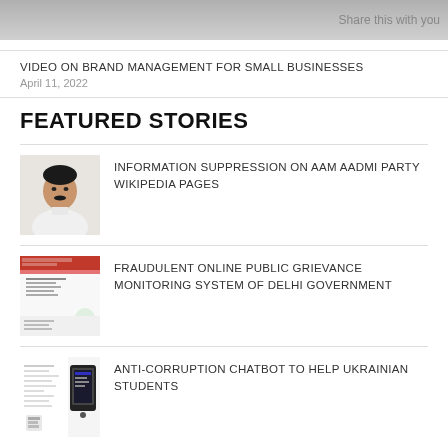Share this with you
VIDEO ON BRAND MANAGEMENT FOR SMALL BUSINESSES
April 11, 2022
FEATURED STORIES
[Figure (photo): Portrait photo of a man in white shirt]
INFORMATION SUPPRESSION ON AAM AADMI PARTY WIKIPEDIA PAGES
[Figure (screenshot): Screenshot of a red and white government website]
FRAUDULENT ONLINE PUBLIC GRIEVANCE MONITORING SYSTEM OF DELHI GOVERNMENT
[Figure (screenshot): Screenshot of a document with text]
ANTI-CORRUPTION CHATBOT TO HELP UKRAINIAN STUDENTS